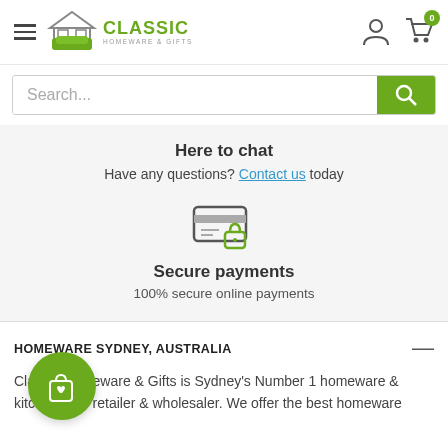[Figure (logo): Classic Homeware & Gifts logo with house icon and green sofa]
Search...
Here to chat
Have any questions? Contact us today
[Figure (illustration): Secure payments icon: credit card with padlock]
Secure payments
100% secure online payments
HOMEWARE SYDNEY, AUSTRALIA
Classic Homeware & Gifts is Sydney's Number 1 homeware & kitchenware retailer & wholesaler. We offer the best homeware
[Figure (illustration): Floating green circular chat/shopping button with bag and heart icon]